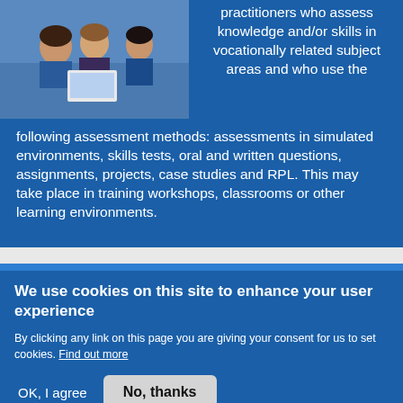[Figure (photo): Students working together on laptops in a learning environment]
practitioners who assess knowledge and/or skills in vocationally related subject areas and who use the following assessment methods: assessments in simulated environments, skills tests, oral and written questions, assignments, projects, case studies and RPL. This may take place in training workshops, classrooms or other learning environments.
We use cookies on this site to enhance your user experience
By clicking any link on this page you are giving your consent for us to set cookies. Find out more
OK, I agree
No, thanks